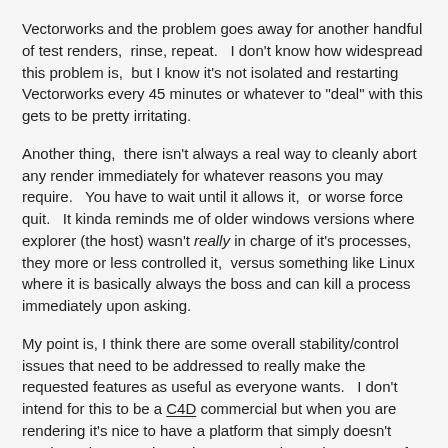Vectorworks and the problem goes away for another handful of test renders,  rinse, repeat.   I don't know how widespread this problem is,  but I know it's not isolated and restarting Vectorworks every 45 minutes or whatever to "deal" with this gets to be pretty irritating.
Another thing,  there isn't always a real way to cleanly abort any render immediately for whatever reasons you may require.   You have to wait until it allows it,  or worse force quit.   It kinda reminds me of older windows versions where explorer (the host) wasn't really in charge of it's processes,  they more or less controlled it,  versus something like Linux where it is basically always the boss and can kill a process immediately upon asking.
My point is, I think there are some overall stability/control issues that need to be addressed to really make the requested features as useful as everyone wants.   I don't intend for this to be a C4D commercial but when you are rendering it's nice to have a platform that simply doesn't crash.    Always updates the geometry in renders,  even after hours of changes.    Can abort any render,  at anytime, for any reason.